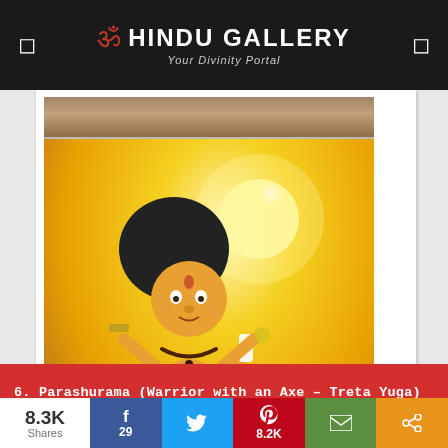ॐ HINDU GALLERY — Your Divinity Portal
[Figure (illustration): Hindu religious illustration: top strip shows a partial scene; main image shows Vamana avatar (dwarf Brahmin boy, bald, golden-skinned, four-armed, wearing red cloth, stepping on the head of demon king Mahabali), set against a bright golden-yellow radiating background]
6. Parashurama (Warrior with an Axe – Treta Yuga)
Parashurama was the sixth avatar of Lord Vishnu.
8.3K Shares  f 29  Twitter  Pinterest 8.2K  Email  Share